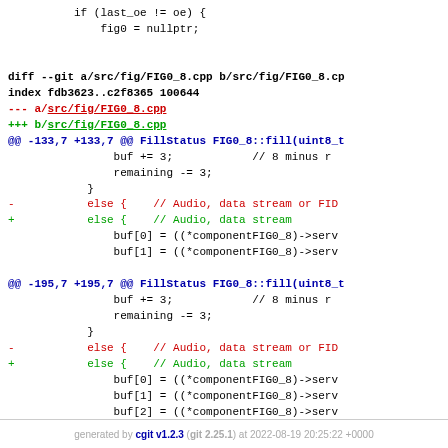if (last_oe != oe) {
    fig0 = nullptr;
diff --git a/src/fig/FIG0_8.cpp b/src/fig/FIG0_8.cp
index fdb3623..c2f8365 100644
--- a/src/fig/FIG0_8.cpp
+++ b/src/fig/FIG0_8.cpp
@@ -133,7 +133,7 @@ FillStatus FIG0_8::fill(uint8_t
                buf += 3;            // 8 minus r
                remaining -= 3;
            }
-           else {    // Audio, data stream or FID
+           else {    // Audio, data stream
                buf[0] = ((*componentFIG0_8)->serv
                buf[1] = ((*componentFIG0_8)->serv

@@ -195,7 +195,7 @@ FillStatus FIG0_8::fill(uint8_t
                buf += 3;            // 8 minus r
                remaining -= 3;
            }
-           else {    // Audio, data stream or FID
+           else {    // Audio, data stream
                buf[0] = ((*componentFIG0_8)->serv
                buf[1] = ((*componentFIG0_8)->serv
                buf[2] = ((*componentFIG0_8)->serv
generated by cgit v1.2.3 (git 2.25.1) at 2022-08-19 20:25:22 +0000